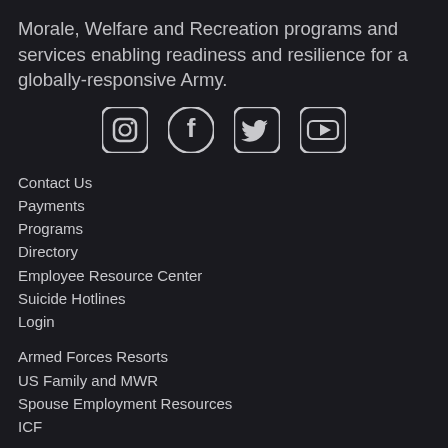Morale, Welfare and Recreation programs and services enabling readiness and resilience for a globally-responsive Army.
[Figure (illustration): Four social media icons in a row: Instagram, Facebook, Twitter, YouTube — white icons on dark circular/rounded-square backgrounds]
Contact Us
Payments
Programs
Directory
Employee Resource Center
Suicide Hotlines
Login
Armed Forces Resorts
US Family and MWR
Spouse Employment Resources
ICF